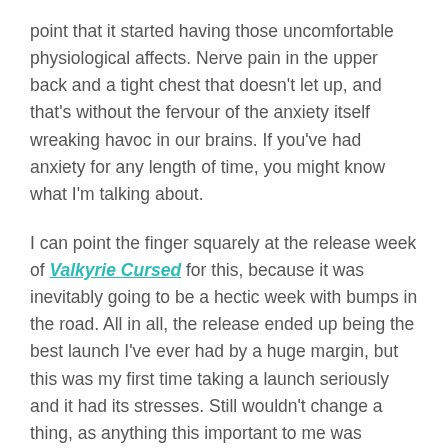point that it started having those uncomfortable physiological affects. Nerve pain in the upper back and a tight chest that doesn't let up, and that's without the fervour of the anxiety itself wreaking havoc in our brains. If you've had anxiety for any length of time, you might know what I'm talking about.
I can point the finger squarely at the release week of Valkyrie Cursed for this, because it was inevitably going to be a hectic week with bumps in the road. All in all, the release ended up being the best launch I've ever had by a huge margin, but this was my first time taking a launch seriously and it had its stresses. Still wouldn't change a thing, as anything this important to me was always going to affect my anxiety.
Even after the stress of release week faded, my body didn't get the memo. I'll admit, staying in business mode (plus the